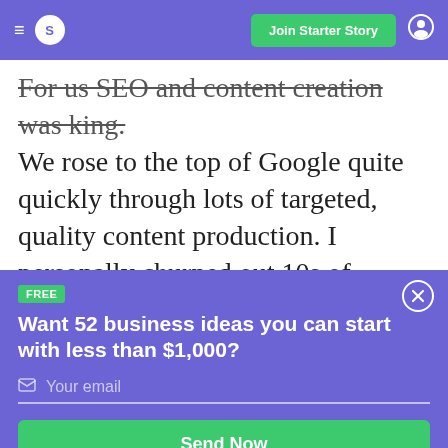≡  S   Join Starter Story  👤
For us SEO and content creation was king. We rose to the top of Google quite quickly through lots of targeted, quality content production. I personally churned out 10s of articles targeting specific, well-researched keywords. These articles were meant to
[Figure (screenshot): Popup overlay on purple background with FREE badge, headline 'Want 52 business ideas you can start with less than $1,000?', email input field, and green Send Now button. Close button (X) in top right corner.]